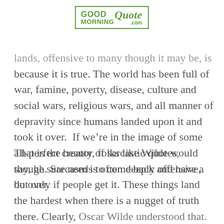GOOD MORNING Quote .com
lands, offensive to many though it may be, is because it is true. The world has been full of war, famine, poverty, disease, culture and social wars, religious wars, and all manner of depravity since humans landed upon it and took it over.  If we're in the image of some all-perfect creator, folks like Wilde would say, he sure needs to come back and have a do over.
That is the beauty of sarcastic quotes, though. Sarcasm is often deeply offensive, but only if people get it. These things land the hardest when there is a nugget of truth there. Clearly, Oscar Wilde understood that. This is why his